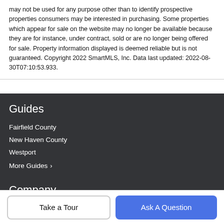may not be used for any purpose other than to identify prospective properties consumers may be interested in purchasing. Some properties which appear for sale on the website may no longer be available because they are for instance, under contract, sold or are no longer being offered for sale. Property information displayed is deemed reliable but is not guaranteed. Copyright 2022 SmartMLS, Inc. Data last updated: 2022-08-30T07:10:53.933.
Guides
Fairfield County
New Haven County
Westport
More Guides ›
Company
Take a Tour
Ask A Question